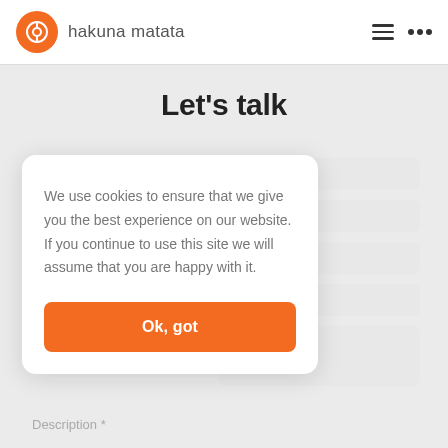hakuna matata
Let's talk
We use cookies to ensure that we give you the best experience on our website. If you continue to use this site we will assume that you are happy with it.
Ok, got
Description *